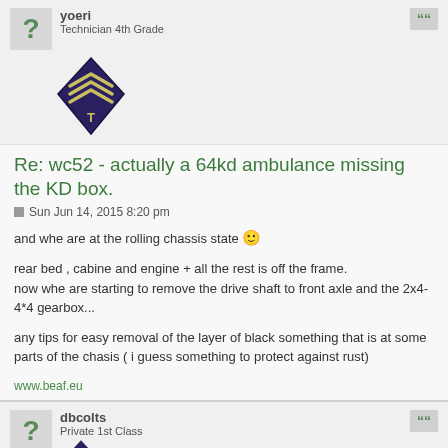yoeri
Technician 4th Grade
[Figure (illustration): Military rank badge - sergeant chevrons with T insignia in dark blue/purple diamond shape]
Re: wc52 - actually a 64kd ambulance missing the KD box.
Sun Jun 14, 2015 8:20 pm
and whe are at the rolling chassis state :)
rear bed , cabine and engine + all the rest is off the frame.
now whe are starting to remove the drive shaft to front axle and the 2x4-4*4 gearbox...
any tips for easy removal of the layer of black something that is at some parts of the chasis ( i guess something to protect against rust)
www.beaf.eu
www.9th-ad.eu
dbcolts
Private 1st Class